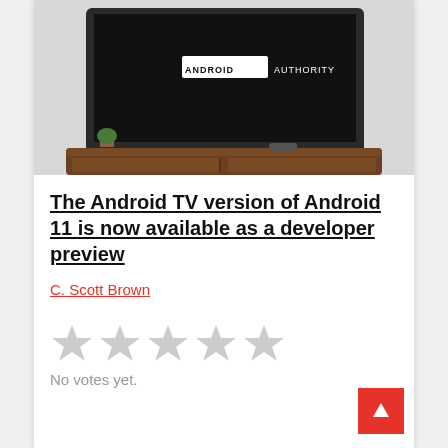[Figure (photo): A TV on a wooden stand displaying the Android Authority logo on a dark screen, photographed in a room setting.]
The Android TV version of Android 11 is now available as a developer preview
C. Scott Brown
No votes yet.